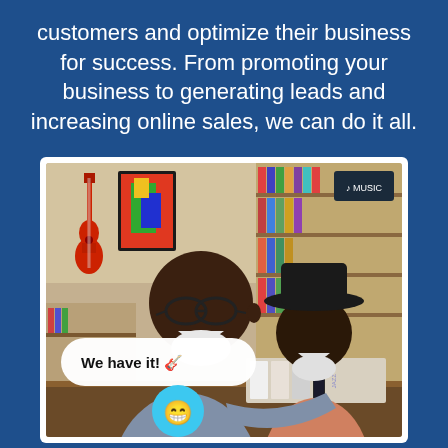customers and optimize their business for success. From promoting your business to generating leads and increasing online sales, we can do it all.
[Figure (photo): Two older Black men smiling and looking at vinyl records in a music store. The store has a red guitar on the wall, colorful artwork, and shelves of records. A white chat bubble with 'We have it! 🎸' overlays the lower left, and a cyan circle with a smiley emoji 😁 appears below it.]